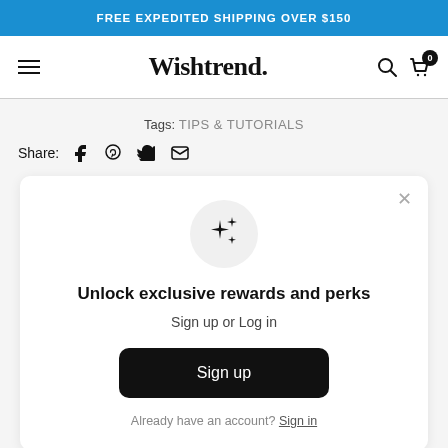FREE EXPEDITED SHIPPING OVER $150
Wishtrend.
Tags: TIPS & TUTORIALS
Share:
Unlock exclusive rewards and perks
Sign up or Log in
Sign up
Already have an account? Sign in